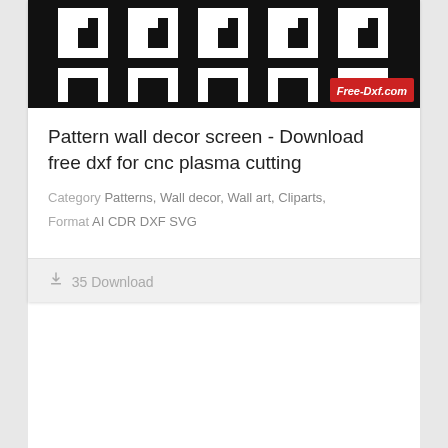[Figure (illustration): Black and white geometric maze/pattern design for CNC plasma cutting, with Free-Dxf.com logo badge in red at bottom right]
Pattern wall decor screen - Download free dxf for cnc plasma cutting
Category Patterns, Wall decor, Wall art, Cliparts,
Format AI CDR DXF SVG
35 Download